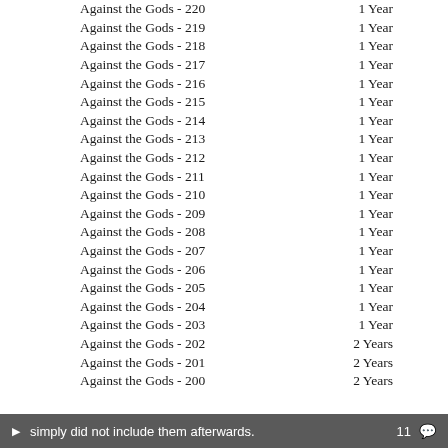Against the Gods - 220    1 Year
Against the Gods - 219    1 Year
Against the Gods - 218    1 Year
Against the Gods - 217    1 Year
Against the Gods - 216    1 Year
Against the Gods - 215    1 Year
Against the Gods - 214    1 Year
Against the Gods - 213    1 Year
Against the Gods - 212    1 Year
Against the Gods - 211    1 Year
Against the Gods - 210    1 Year
Against the Gods - 209    1 Year
Against the Gods - 208    1 Year
Against the Gods - 207    1 Year
Against the Gods - 206    1 Year
Against the Gods - 205    1 Year
Against the Gods - 204    1 Year
Against the Gods - 203    1 Year
Against the Gods - 202    2 Years
Against the Gods - 201    2 Years
Against the Gods - 200    2 Years
simply did not include them afterwards.    11